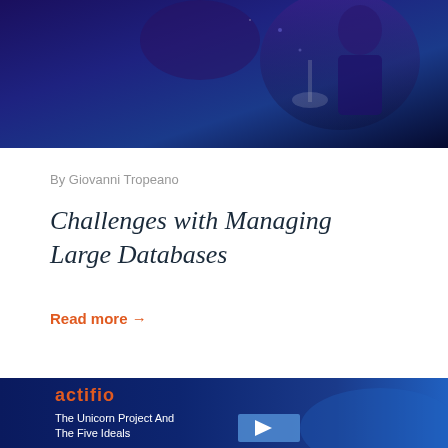[Figure (photo): Dark blue conference/event photo with person silhouette visible against dark background]
By Giovanni Tropeano
Challenges with Managing Large Databases
Read more →
[Figure (screenshot): Actifio branded video thumbnail with title 'The Unicorn Project And The Five Ideals' on dark blue background with play button]